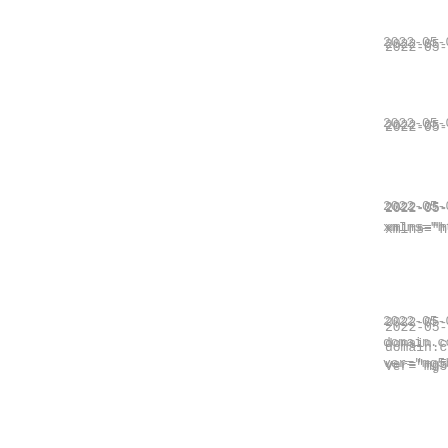2022-05-08
2022-05-08
2022-05-08
xmlns="http
2022-05-08
domain.com/
ver="mg5bXb
2022-05-08
2022-05-08
2022-05-08
xmlns="http
2022-05-08
domain.com/
ver="mg5bXb
2022-05-08
2022-05-08